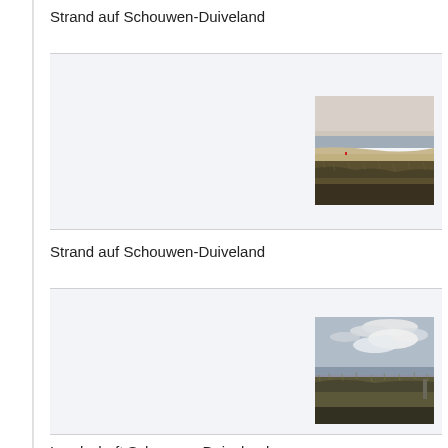Strand auf Schouwen-Duiveland
[Figure (photo): Beach and dune landscape on Schouwen-Duiveland, showing sandy beach curving into the distance with grass-covered dunes in the foreground and hazy sky]
Strand auf Schouwen-Duiveland
[Figure (photo): Coastal landscape on Schouwen-Duiveland with cloudy sky, water in the middle distance, and reed/grass vegetation in the foreground]
Landschaft Schouwen-Duiveland